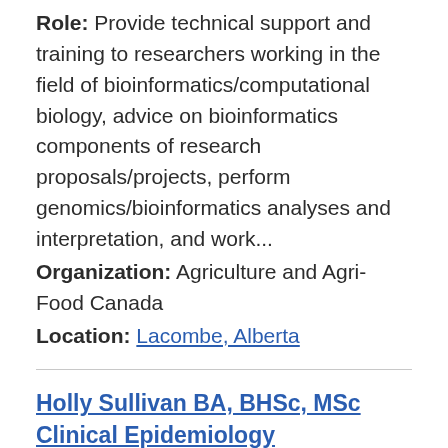Role: Provide technical support and training to researchers working in the field of bioinformatics/computational biology, advice on bioinformatics components of research proposals/projects, perform genomics/bioinformatics analyses and interpretation, and work...
Organization: Agriculture and Agri-Food Canada
Location: Lacombe, Alberta
Holly Sullivan BA, BHSc, MSc Clinical Epidemiology
Title: Epidemiologist/Biostatistician